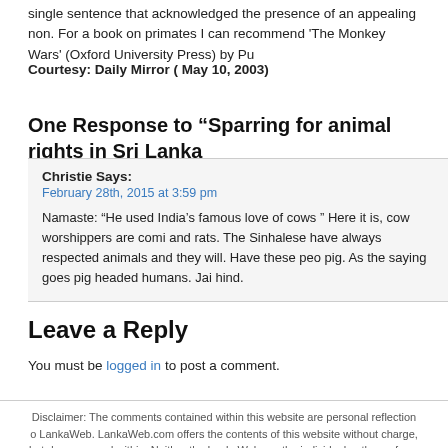single sentence that acknowledged the presence of an appealing non. For a book on primates I can recommend 'The Monkey Wars' (Oxford University Press) by Pu
Courtesy: Daily Mirror ( May 10, 2003)
One Response to “Sparring for animal rights in Sri Lanka”
Christie Says:
February 28th, 2015 at 3:59 pm
Namaste: "He used India's famous love of cows " Here it is, cow worshippers are comi and rats. The Sinhalese have always respected animals and they will. Have these peo pig. As the saying goes pig headed humans. Jai hind.
Leave a Reply
You must be logged in to post a comment.
Disclaimer: The comments contained within this website are personal reflection o LankaWeb. LankaWeb.com offers the contents of this website without charge, but do expressed within. Neither the LankaWeb nor the individual authors of any material o damage, however caused (including through negligence), which you may directly or in